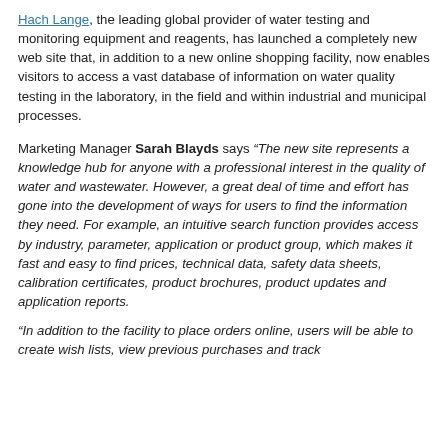Hach Lange, the leading global provider of water testing and monitoring equipment and reagents, has launched a completely new web site that, in addition to a new online shopping facility, now enables visitors to access a vast database of information on water quality testing in the laboratory, in the field and within industrial and municipal processes.
Marketing Manager Sarah Blayds says “The new site represents a knowledge hub for anyone with a professional interest in the quality of water and wastewater. However, a great deal of time and effort has gone into the development of ways for users to find the information they need. For example, an intuitive search function provides access by industry, parameter, application or product group, which makes it fast and easy to find prices, technical data, safety data sheets, calibration certificates, product brochures, product updates and application reports.
“In addition to the facility to place orders online, users will be able to create wish lists, view previous purchases and track